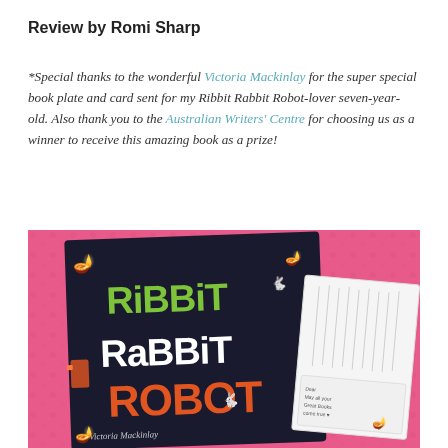Review by Romi Sharp
*Special thanks to the wonderful Victoria Mackinlay for the super special book plate and card sent for my Ribbit Rabbit Robot-lover seven-year-old. Also thank you to the Australian Writers' Centre for choosing us as a winner to receive this amazing book as a prize!
[Figure (photo): Photo of the children's book 'Ribbit Rabbit Robot' by Victoria Mackinlay, showing the cover with colourful lettering on a dark background, placed on a pink fabric surface alongside a white card/bookplate.]